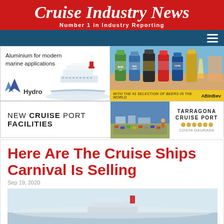Cruise Industry News — Number 1 in Industry Reporting
[Figure (other): Hydro advertisement: Aluminium for modern marine applications with cruise ship illustration and Hydro logo]
[Figure (other): AB InBev advertisement showing beer bottles with tagline: With the #1 selection of beers in the world]
[Figure (other): Tarragona Cruise Port advertisement: New Cruise Port Facilities, Costa Daurada]
Here Are The Cruise Ships Carnival Is Selling
Sep 19, 2020
[Figure (photo): Aerial or wide shot of a cruise ship at sea]